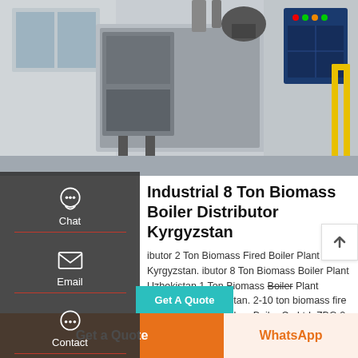[Figure (photo): Industrial biomass boiler equipment in a facility — large rectangular unit on left, mechanical components and blue control panel on right with yellow railing]
Industrial 8 Ton Biomass Boiler Distributor Kyrgyzstan
Distributor 2 Ton Biomass Fired Boiler Plant Kyrgyzstan. Distributor 8 Ton Biomass Boiler Plant Uzbekistan 1 Ton Biomass Boiler Plant Distributor Kazakhstan. 2-10 ton biomass fire tube Boiler_Zhengzhou Boiler Co Ltd. ZBG 2-10 tons of fire tube is a dzl series chain grate one of the star products of ZBG 2-10 fire tube.
Read More